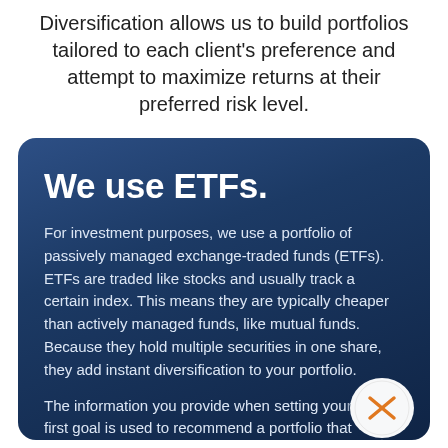Diversification allows us to build portfolios tailored to each client's preference and attempt to maximize returns at their preferred risk level.
We use ETFs.
For investment purposes, we use a portfolio of passively managed exchange-traded funds (ETFs). ETFs are traded like stocks and usually track a certain index. This means they are typically cheaper than actively managed funds, like mutual funds. Because they hold multiple securities in one share, they add instant diversification to your portfolio.
The information you provide when setting your first goal is used to recommend a portfolio that